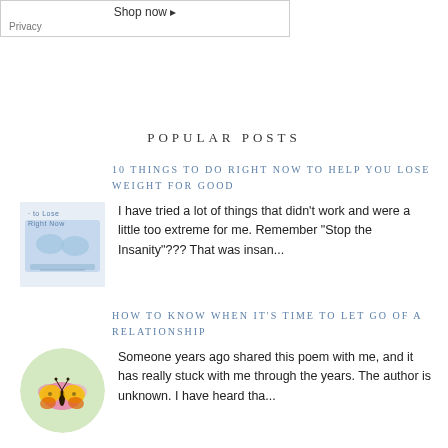[Figure (screenshot): Ad box with 'Shop now' link and Privacy label]
POPULAR POSTS
10 THINGS TO DO RIGHT NOW TO HELP YOU LOSE WEIGHT FOR GOOD
[Figure (photo): Thumbnail image showing items related to losing weight with text 'to Lose Right Now']
I have tried a lot of things that didn't work and were a little too extreme for me. Remember “Stop the Insanity”??? That was insan...
HOW TO KNOW WHEN IT'S TIME TO LET GO OF A RELATIONSHIP
[Figure (photo): Circular thumbnail of a butterfly on flowers]
Someone years ago shared this poem with me, and it has really stuck with me through the years.  The author is unknown.  I have heard tha...